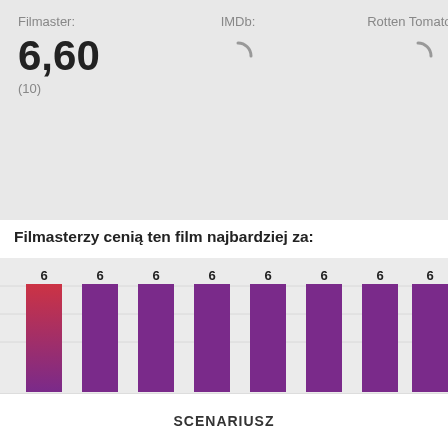Filmaster: 6,60 (10)
IMDb: (loading)
Rotten Tomatoes: (loading)
Filmasterzy cenią ten film najbardziej za:
[Figure (bar-chart): Filmasterzy cenią ten film najbardziej za:]
SCENARIUSZ